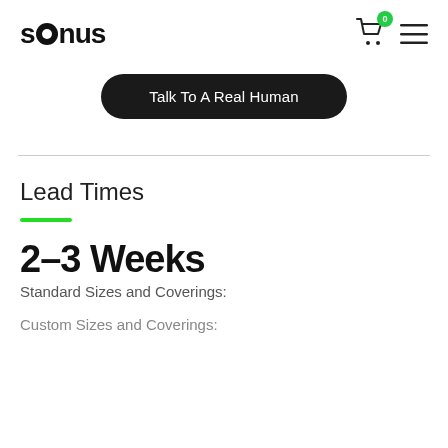sonus
Talk To A Real Human
Lead Times
2–3 Weeks
Standard Sizes and Coverings:
Custom Sizes and Coverings: